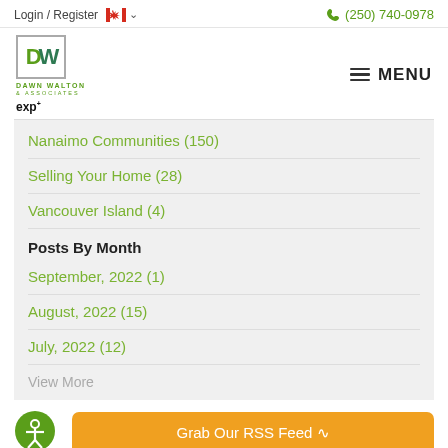Login / Register  🍁  (250) 740-0978
[Figure (logo): Dawn Walton & Associates eXp Realty logo with DW monogram in green box]
Nanaimo Communities (150)
Selling Your Home (28)
Vancouver Island (4)
Posts By Month
September, 2022 (1)
August, 2022 (15)
July, 2022 (12)
View More
Grab Our RSS Feed